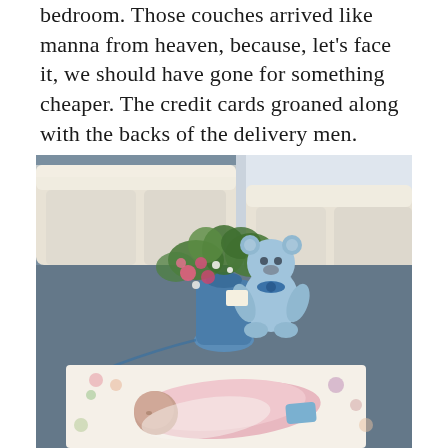bedroom. Those couches arrived like manna from heaven, because, let's face it, we should have gone for something cheaper. The credit cards groaned along with the backs of the delivery men.
[Figure (photo): A newborn baby swaddled in a pink blanket lying on a floral blanket on the floor. Behind the baby is a flower arrangement in a blue vase with a blue teddy bear. In the background are cream-colored leather couches near a window.]